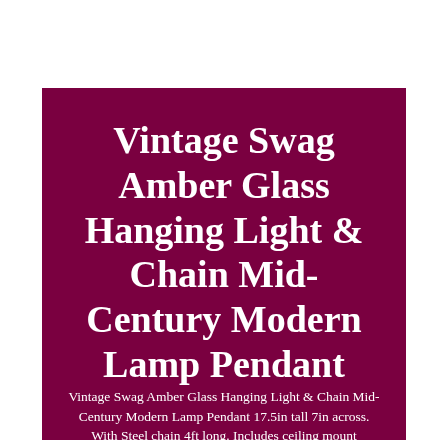Vintage Swag Amber Glass Hanging Light & Chain Mid-Century Modern Lamp Pendant
Vintage Swag Amber Glass Hanging Light & Chain Mid-Century Modern Lamp Pendant 17.5in tall 7in across. With Steel chain 4ft long. Includes ceiling mount